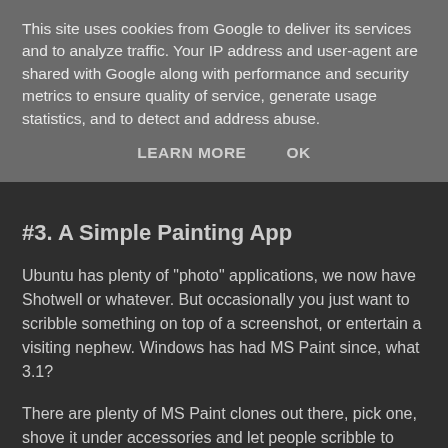This site uses cookies from Google to deliver its services and to analyze traffic. Your IP address and user-agent are shared with Google along with performance and security metrics to ensure quality of service, generate usage statistics, and to detect and address abuse.
LEARN MORE   OK
#3. A Simple Painting App
Ubuntu has plenty of "photo" applications, we now have Shotwell or whatever. But occasionally you just want to scribble something on top of a screenshot, or entertain a visiting nephew. Windows has had MS Paint since, what 3.1?
There are plenty of MS Paint clones out there, pick one, shove it under accessories and let people scribble to their hearts content from the LiveCD.
#4. An iPod/iPhone Firmware Updater